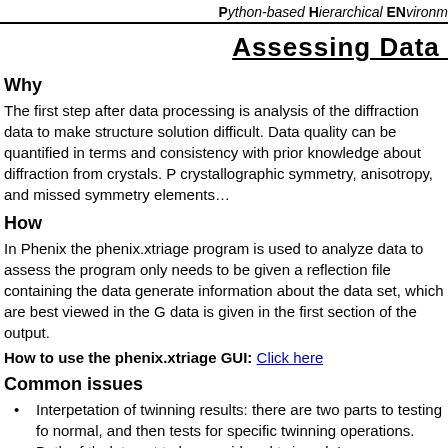Python-based Hierarchical ENvironm…
Assessing Data…
Why
The first step after data processing is analysis of the diffraction data to make structure solution difficult. Data quality can be quantified in terms and consistency with prior knowledge about diffraction from crystals. P crystallographic symmetry, anisotropy, and missed symmetry elements…
How
In Phenix the phenix.xtriage program is used to analyze data to assess the program only needs to be given a reflection file containing the data generate information about the data set, which are best viewed in the G data is given in the first section of the output.
How to use the phenix.xtriage GUI: Click here
Common issues
Interpetation of twinning results: there are two parts to testing fo… normal, and then tests for specific twinning operations. Both of th… data set to be considered twinned. In some cases the tests of sp… fraction but the overall intensity statistics look normal. This shoul… missed symmetry element (phenix.xtriage might indeed suggest…